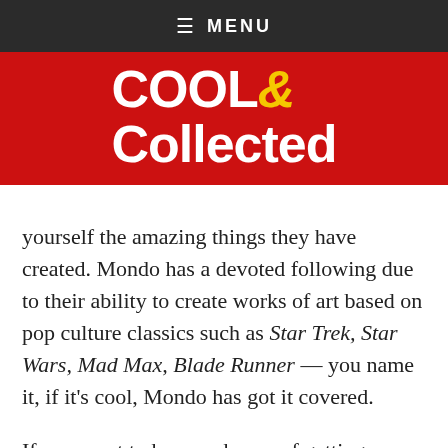≡ MENU
[Figure (logo): Cool & Collected logo — white bold text on red background with yellow ampersand]
yourself the amazing things they have created. Mondo has a devoted following due to their ability to create works of art based on pop culture classics such as Star Trek, Star Wars, Mad Max, Blade Runner — you name it, if it's cool, Mondo has got it covered.
If you want to have a chance of getting one of their limited edition posters at the retail price, and not an inflated eBay price, you need to follow